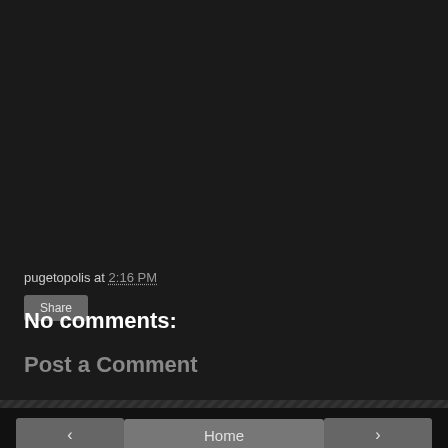pugetopolis at 2:16 PM
Share
No comments:
Post a Comment
Home
View web version
Powered by Blogger.